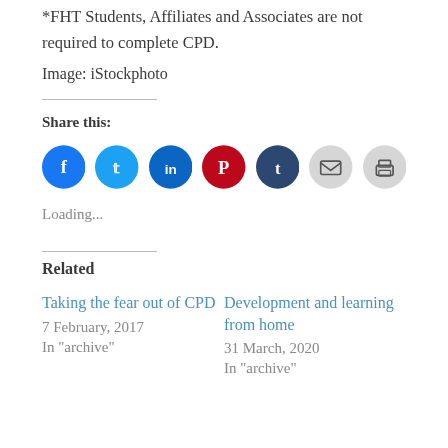*FHT Students, Affiliates and Associates are not required to complete CPD.
Image: iStockphoto
Share this:
[Figure (other): Social sharing icons: Facebook (blue circle), Twitter (light blue circle), LinkedIn (dark blue circle), Pinterest (red circle), Tumblr (dark navy circle), Email (light grey circle), Print (light grey circle)]
Loading...
Related
Taking the fear out of CPD
7 February, 2017
In "archive"
Development and learning from home
31 March, 2020
In "archive"